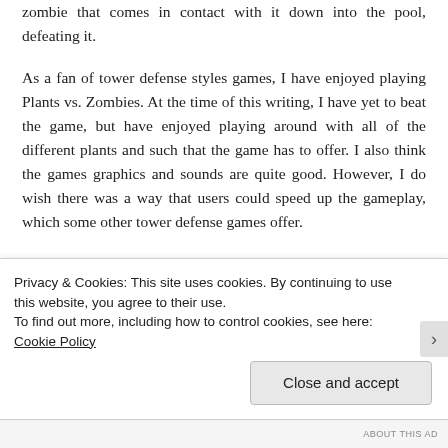zombie that comes in contact with it down into the pool, defeating it.
As a fan of tower defense styles games, I have enjoyed playing Plants vs. Zombies. At the time of this writing, I have yet to beat the game, but have enjoyed playing around with all of the different plants and such that the game has to offer. I also think the games graphics and sounds are quite good. However, I do wish there was a way that users could speed up the gameplay, which some other tower defense games offer.
Overall, I think Plants vs. Zombies is a great game for the
Privacy & Cookies: This site uses cookies. By continuing to use this website, you agree to their use.
To find out more, including how to control cookies, see here: Cookie Policy